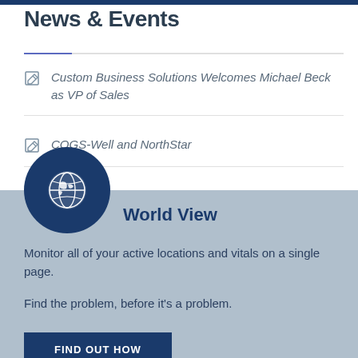News & Events
Custom Business Solutions Welcomes Michael Beck as VP of Sales
COGS-Well and NorthStar
World View
Monitor all of your active locations and vitals on a single page.
Find the problem, before it’s a problem.
FIND OUT HOW